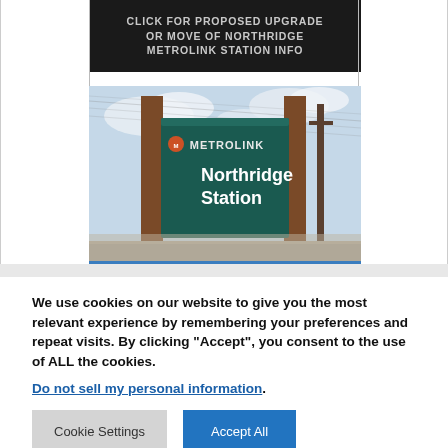CLICK FOR PROPOSED UPGRADE OR MOVE OF NORTHRIDGE METROLINK STATION INFO
[Figure (photo): Photograph of a Metrolink Northridge Station sign mounted between two wooden posts, with utility poles and wires visible in the background against a partly cloudy sky. The sign is dark teal/green with white text reading 'METROLINK' and 'Northridge Station'.]
We use cookies on our website to give you the most relevant experience by remembering your preferences and repeat visits. By clicking “Accept”, you consent to the use of ALL the cookies.
Do not sell my personal information.
Cookie Settings
Accept All